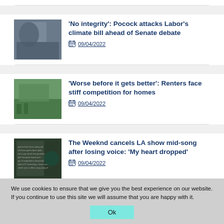[Figure (photo): Partial article thumbnail at top, cropped]
'No integrity': Pocock attacks Labor's climate bill ahead of Senate debate
09/04/2022
[Figure (photo): Outdoor scene with people gathered on a lawn near a building]
'Worse before it gets better': Renters face stiff competition for homes
09/04/2022
[Figure (photo): Social media post screenshot with text, dark background]
The Weeknd cancels LA show mid-song after losing voice: 'My heart dropped'
09/04/2022
We use cookies to ensure that we give you the best experience on our website. If you continue to use this site we will assume that you are happy with it.